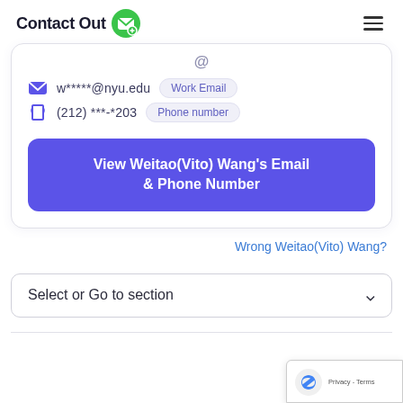ContactOut
w*****@nyu.edu  Work Email
(212) ***-*203  Phone number
View Weitao(Vito) Wang's Email & Phone Number
Wrong Weitao(Vito) Wang?
Select or Go to section